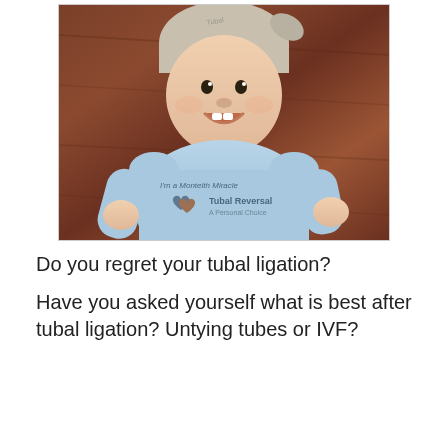[Figure (photo): A smiling baby wearing a light blue onesie with a hat. The onesie reads 'I'm a Monteith Miracle' and shows a Tubal Reversal logo with hearts. The baby is photographed against a dark wood background.]
Do you regret your tubal ligation?
Have you asked yourself what is best after tubal ligation? Untying tubes or IVF?